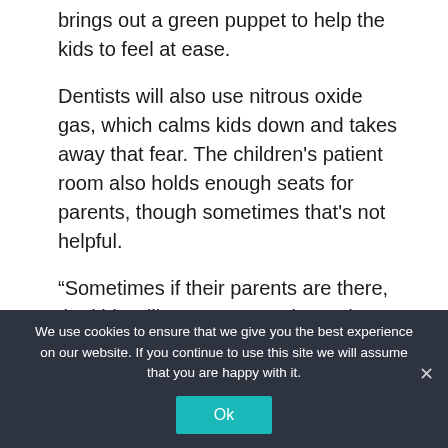brings out a green puppet to help the kids to feel at ease.
Dentists will also use nitrous oxide gas, which calms kids down and takes away that fear. The children's patient room also holds enough seats for parents, though sometimes that's not helpful.
“Sometimes if their parents are there, the kids will want to go to them,” he said.
At the end of the visit, children receive a goodie
We use cookies to ensure that we give you the best experience on our website. If you continue to use this site we will assume that you are happy with it.